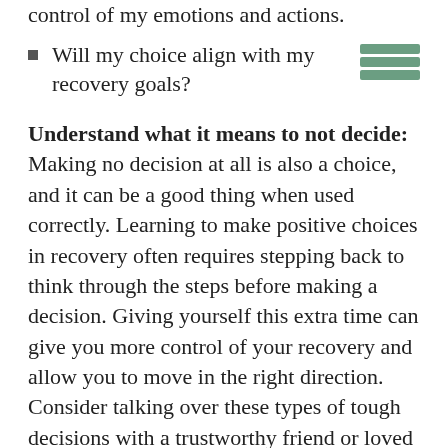Will my choice align with my recovery goals?
Understand what it means to not decide: Making no decision at all is also a choice, and it can be a good thing when used correctly. Learning to make positive choices in recovery often requires stepping back to think through the steps before making a decision. Giving yourself this extra time can give you more control of your recovery and allow you to move in the right direction. Consider talking over these types of tough decisions with a trustworthy friend or loved one and then commit to making a good choice.
Believe in the new sober you: A big part of making good choices is believing that you deserve good choices that can lead to better